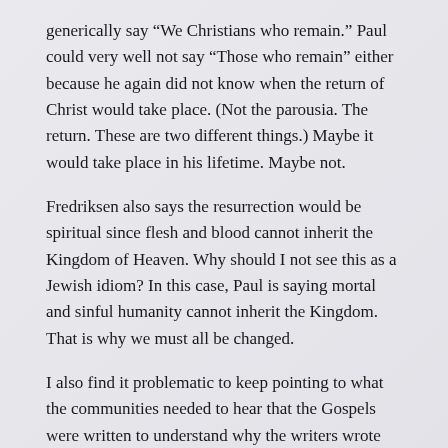generically say “We Christians who remain.” Paul could very well not say “Those who remain” either because he again did not know when the return of Christ would take place. (Not the parousia. The return. These are two different things.) Maybe it would take place in his lifetime. Maybe not.
Fredriksen also says the resurrection would be spiritual since flesh and blood cannot inherit the Kingdom of Heaven. Why should I not see this as a Jewish idiom? In this case, Paul is saying mortal and sinful humanity cannot inherit the Kingdom. That is why we must all be changed.
I also find it problematic to keep pointing to what the communities needed to hear that the Gospels were written to understand why the writers wrote what they wrote. What we have immediate access to is the writing itself. We don’t have access to the communities or even proof that there was a “Matthean community” or a “Lukan community.”